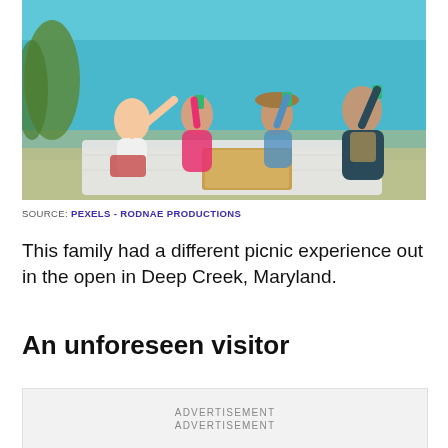[Figure (photo): Group of four friends sitting on a blanket outdoors by a lake doing a toast with green cups, with an open pizza box in front of them. Scenic background with blue water and green vegetation.]
SOURCE: PEXELS - RODNAE PRODUCTIONS
This family had a different picnic experience out in the open in Deep Creek, Maryland.
An unforeseen visitor
ADVERTISEMENT
ADVERTISEMENT